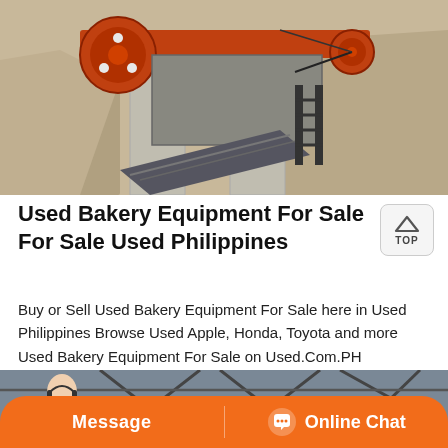[Figure (photo): Industrial jaw crusher / rock crushing machine with orange flywheel, concrete supports, and conveyor belt, photographed outdoors in a quarry setting.]
Used Bakery Equipment For Sale For Sale Used Philippines
Buy or Sell Used Bakery Equipment For Sale here in Used Philippines Browse Used Apple, Honda, Toyota and more Used Bakery Equipment For Sale on Used.Com.PH
[Figure (photo): Bottom portion of page showing a customer service representative and a steel frame structure background, with an orange Message and Online Chat bar overlay.]